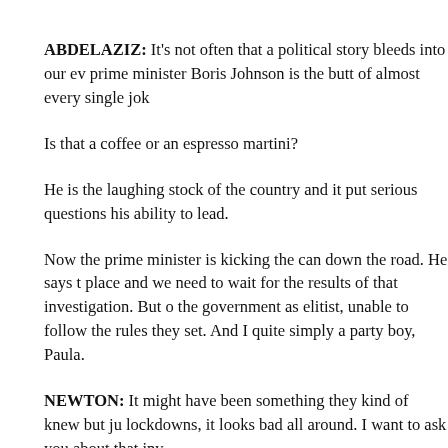ABDELAZIZ: It's not often that a political story bleeds into our ev prime minister Boris Johnson is the butt of almost every single jok
Is that a coffee or an espresso martini?
He is the laughing stock of the country and it put serious questions his ability to lead.
Now the prime minister is kicking the can down the road. He says t place and we need to wait for the results of that investigation. But o the government as elitist, unable to follow the rules they set. And I quite simply a party boy, Paula.
NEWTON: It might have been something they kind of knew but ju lockdowns, it looks bad all around. I want to ask you about that inv